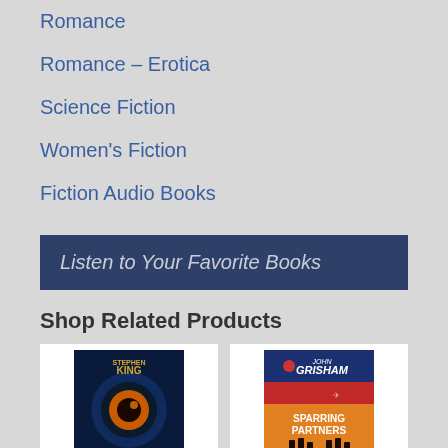Romance
Romance – Erotica
Science Fiction
Women's Fiction
Fiction Audio Books
Listen to Your Favorite Books
Shop Related Products
[Figure (illustration): Stephen King book cover with blue tones and eye graphic]
[Figure (illustration): John Grisham Sparring Partners book cover with blue, red, orange horizontal stripes]